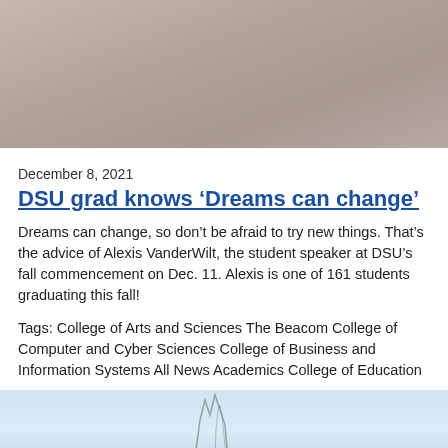[Figure (photo): Blurred beige/tan background photograph taking up top portion of page]
December 8, 2021
DSU grad knows ‘Dreams can change’
Dreams can change, so don’t be afraid to try new things. That’s the advice of Alexis VanderWilt, the student speaker at DSU’s fall commencement on Dec. 11. Alexis is one of 161 students graduating this fall!
Tags: College of Arts and Sciences The Beacom College of Computer and Cyber Sciences College of Business and Information Systems All News Academics College of Education
[Figure (photo): Light blue sky background with faint figure silhouette at bottom]